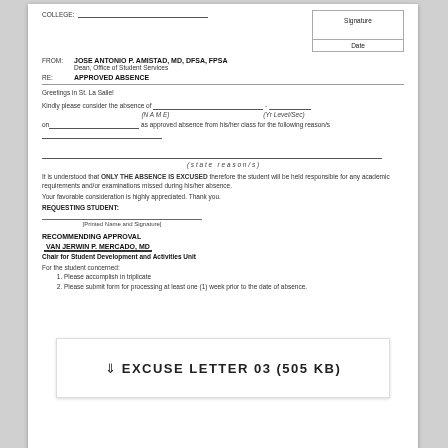COLLEGE:
Signature
Date
FROM:  JOSE ANTONIO P. AMISTAD, MD, DFSA, FPSA
Dean, Office of Student Services
RE:  APPROVED ABSENCE
Greetings in St. La Salle!
Kindly please consider the absence of _________________________ - ____________
(N A M E)                    (Yr Level/Sec)
on_____________________________ as approved absence from his/her class for the following reason/s ___________________________________________________________________
__________________________________________________________________ (state reason/s)
It is understood that ONLY THE ABSENCE IS EXCUSED therefore the student will be held responsible for any academic requirements and/or examinations missed during his/her absence.
Your favorable consideration is highly appreciated. Thank you.
REQUESTING STUDENT:
[Printed Name and Signature]
RECOMMENDING APPROVAL
VAN JERWIN P. MERCADO, MD
Chair for Student Development and Activities Unit
For the student concerned:
1. Please accomplish in triplicate
2. Please submit form for processing at least one (1) week prior to the date of absence.
⬇ EXCUSE LETTER 03 (505 KB)